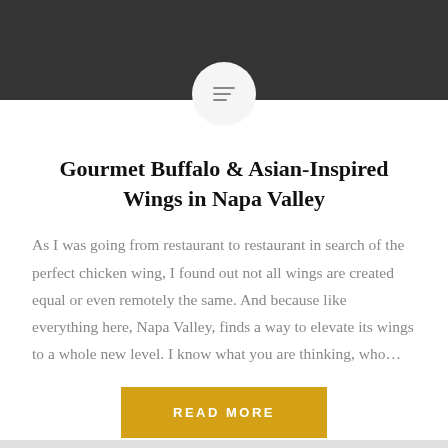[Figure (illustration): Dark header bar with a circular icon containing three horizontal lines of decreasing width (menu/list icon)]
Gourmet Buffalo & Asian-Inspired Wings in Napa Valley
As I was going from restaurant to restaurant in search of the perfect chicken wing, I found out not all wings are created equal or even remotely the same. And because like everything here, Napa Valley, finds a way to elevate its wings to a whole new level. I know what you are thinking, who…
READ MORE